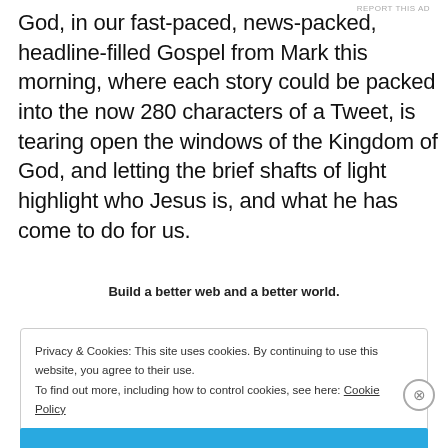God, in our fast-paced, news-packed, headline-filled Gospel from Mark this morning, where each story could be packed into the now 280 characters of a Tweet, is tearing open the windows of the Kingdom of God, and letting the brief shafts of light highlight who Jesus is, and what he has come to do for us.
Build a better web and a better world.
REPORT THIS AD
Privacy & Cookies: This site uses cookies. By continuing to use this website, you agree to their use.
To find out more, including how to control cookies, see here: Cookie Policy
Close and accept